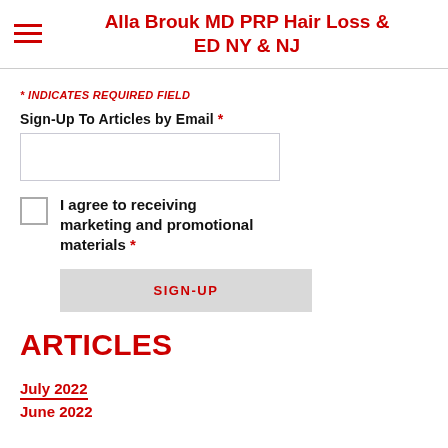Alla Brouk MD PRP Hair Loss & ED NY & NJ
* INDICATES REQUIRED FIELD
Sign-Up To Articles by Email *
I agree to receiving marketing and promotional materials *
SIGN-UP
ARTICLES
July 2022
June 2022